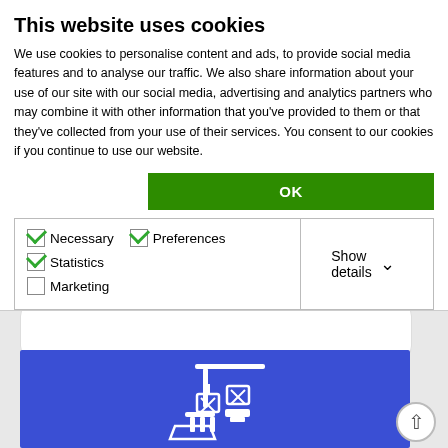This website uses cookies
We use cookies to personalise content and ads, to provide social media features and to analyse our traffic. We also share information about your use of our site with our social media, advertising and analytics partners who may combine it with other information that you've provided to them or that they've collected from your use of their services. You consent to our cookies if you continue to use our website.
[Figure (screenshot): Cookie consent dialog with OK button (green), checkboxes for Necessary (checked), Preferences (checked), Statistics (checked), Marketing (unchecked), and a Show details dropdown. Below is a greyed-out page showing a white rounded card and a blue banner with a white port/crane icon illustration.]